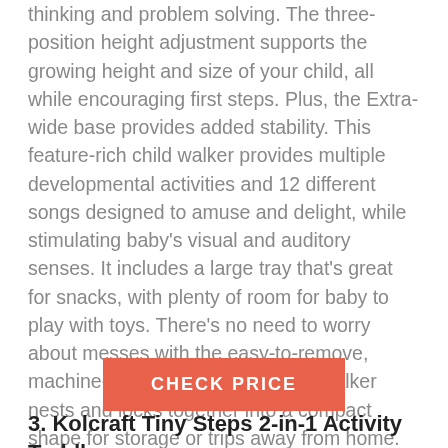thinking and problem solving. The three-position height adjustment supports the growing height and size of your child, all while encouraging first steps. Plus, the Extra-wide base provides added stability. This feature-rich child walker provides multiple developmental activities and 12 different songs designed to amuse and delight, while stimulating baby's visual and auditory senses. It includes a large tray that's great for snacks, with plenty of room for baby to play with toys. There's no need to worry about messes with the easy-to-remove, machine-washable seat pad. The walker nests and locks together into a compact shape for storage or trips away from home. With a weight range up to 30 pounds, it's an excellent option for babies getting ready to walk.
CHECK PRICE
3. Kolcraft Tiny Steps 2-in-1 Activity Toddler